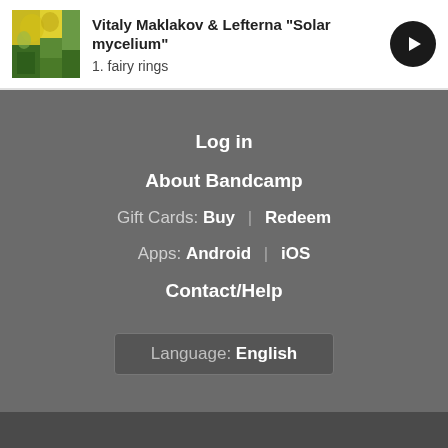[Figure (screenshot): Album art thumbnail showing colorful abstract/nature image in yellow and blue tones]
Vitaly Maklakov & Lefterna "Solar mycelium"
1. fairy rings
[Figure (illustration): Black circular play button icon]
Log in
About Bandcamp
Gift Cards: Buy | Redeem
Apps: Android | iOS
Contact/Help
Language: English